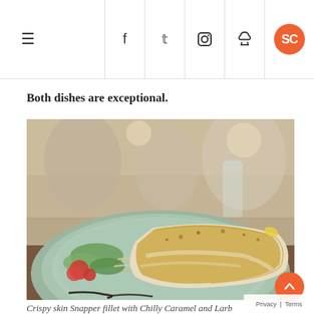≡ | f | t | instagram | pinterest | SC
Both dishes are exceptional.
[Figure (photo): A crispy skin snapper fillet with a golden-brown crust, served on a light green plate with a salad of cherry tomatoes, green leaves, bean sprouts, and cashew nuts. Restaurant interior visible in background.]
Crispy skin Snapper fillet with Chilly Caramel and Larb